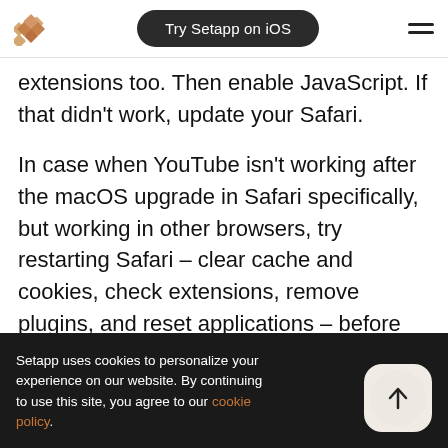Try Setapp on iOS
extensions too. Then enable JavaScript. If that didn't work, update your Safari.
In case when YouTube isn't working after the macOS upgrade in Safari specifically, but working in other browsers, try restarting Safari – clear cache and cookies, check extensions, remove plugins, and reset applications – before running videos on YouTube. Also, if you happen
incompatibilities between HTML 5 and Safari that
Setapp uses cookies to personalize your experience on our website. By continuing to use this site, you agree to our cookie policy.